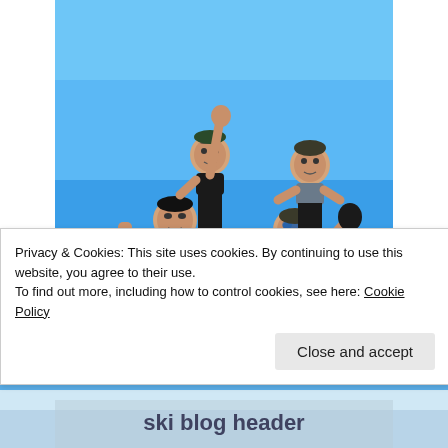[Figure (photo): Group of five young people posing outdoors on a snowy mountain top against a bright blue sky. Two women are being held up by three men. Some are shirtless or in sports bras despite the snowy conditions. Everyone is smiling and celebrating.]
Privacy & Cookies: This site uses cookies. By continuing to use this website, you agree to their use.
To find out more, including how to control cookies, see here: Cookie Policy
Close and accept